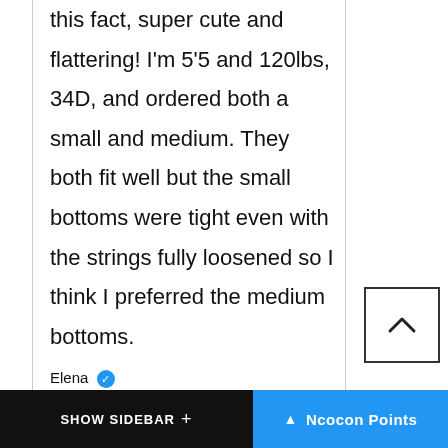this fact, super cute and flattering! I'm 5'5 and 120lbs, 34D, and ordered both a small and medium. They both fit well but the small bottoms were tight even with the strings fully loosened so I think I preferred the medium bottoms.
Elena ✓
United States
SHOW SIDEBAR +   ^ Ncocon Points